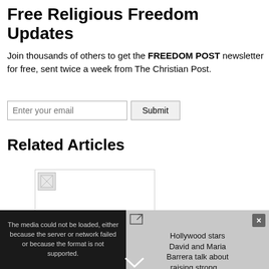Free Religious Freedom Updates
Join thousands of others to get the FREEDOM POST newsletter for free, sent twice a week from The Christian Post.
Enter your email [input] Submit [button]
Related Articles
[Figure (photo): Broken image placeholder for a related article thumbnail]
Christian activist Bob Fu faces death threats in Texas over religious freedom work
[Figure (screenshot): Video overlay showing error message: The media could not be loaded, either because the server or network failed or because the format is not supported. Sidebar shows Hollywood stars David and Maria Barrera talk about raising strong...]